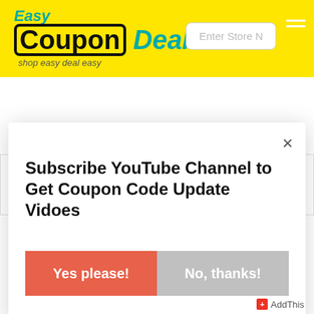[Figure (logo): EasyCouponDeal.com logo with yellow background, teal 'Easy' text, black bold 'Coupon' in rounded border, teal italic 'Deal', tagline 'shop easy deal easy']
|  | Fashion & Accessories |  |
| --- | --- | --- |
|  |
Subscribe YouTube Channel to Get Coupon Code Update Vidoes
Yes please!
No, thanks!
AddThis